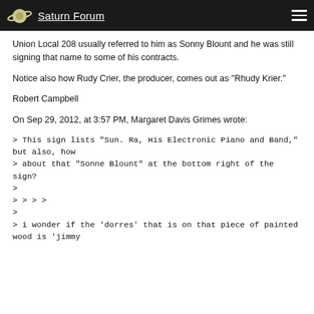Saturn Forum
Union Local 208 usually referred to him as Sonny Blount and he was still signing that name to some of his contracts.
Notice also how Rudy Crier, the producer, comes out as "Rhudy Krier."
Robert Campbell
On Sep 29, 2012, at 3:57 PM, Margaret Davis Grimes wrote:
> This sign lists "Sun. Ra, His Electronic Piano and Band," but also, how
> about that "Sonne Blount" at the bottom right of the sign?
>
> > > >
>
> i wonder if the 'dorres' that is on that piece of painted wood is 'jimmy